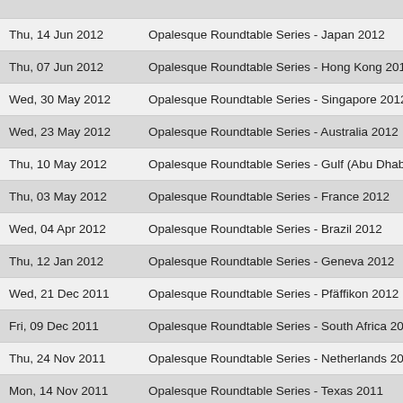| Date | Title |
| --- | --- |
| Thu, 14 Jun 2012 | Opalesque Roundtable Series - Japan 2012 |
| Thu, 07 Jun 2012 | Opalesque Roundtable Series - Hong Kong 2012 |
| Wed, 30 May 2012 | Opalesque Roundtable Series - Singapore 2012 |
| Wed, 23 May 2012 | Opalesque Roundtable Series - Australia 2012 |
| Thu, 10 May 2012 | Opalesque Roundtable Series - Gulf (Abu Dhabi) 20 |
| Thu, 03 May 2012 | Opalesque Roundtable Series - France 2012 |
| Wed, 04 Apr 2012 | Opalesque Roundtable Series - Brazil 2012 |
| Thu, 12 Jan 2012 | Opalesque Roundtable Series - Geneva 2012 |
| Wed, 21 Dec 2011 | Opalesque Roundtable Series - Pfäffikon 2012 |
| Fri, 09 Dec 2011 | Opalesque Roundtable Series - South Africa 2012 |
| Thu, 24 Nov 2011 | Opalesque Roundtable Series - Netherlands 2011 |
| Mon, 14 Nov 2011 | Opalesque Roundtable Series - Texas 2011 |
| Mon, 07 Nov 2011 | Opalesque Roundtable Series - Boston 2011 |
| Mon, 31 Oct 2011 | Opalesque Roundtable Series - Cayman 2011 |
| Thu, 06 Oct 2011 | Opalesque Roundtable Series - New York 2011 |
| Wed, 10 Aug 2011 | Opalesque Roundtable Series - France 2011 |
| Mon, 01 Aug 2011 | Opalesque Roundtable Series - U.K. 2011 |